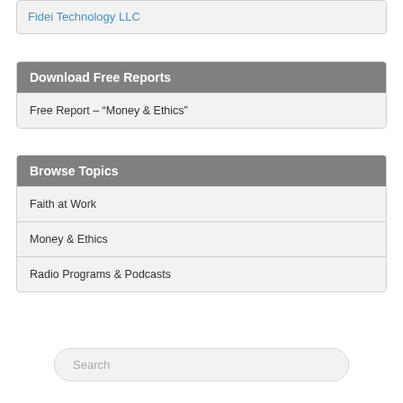Fidei Technology LLC
Download Free Reports
Free Report – “Money & Ethics”
Browse Topics
Faith at Work
Money & Ethics
Radio Programs & Podcasts
Search